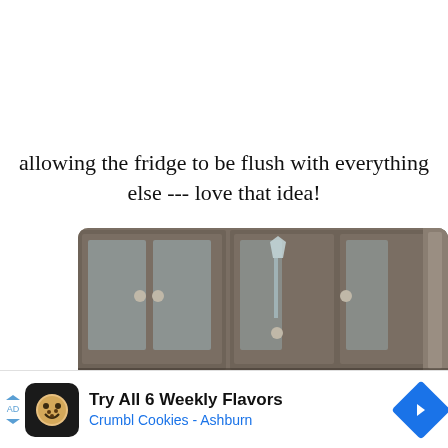allowing the fridge to be flush with everything else --- love that idea!
[Figure (photo): Kitchen interior showing dark gray wood cabinets with glass-front upper cabinets and a pantry with open door revealing shelves stocked with orange cans, next to a stainless steel refrigerator]
[Figure (screenshot): Advertisement banner for Crumbl Cookies - Ashburn: 'Try All 6 Weekly Flavors' with Crumbl logo icon and blue navigation arrow on right]